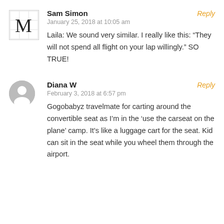Sam Simon
January 25, 2018 at 10:05 am
Reply
Laila: We sound very similar. I really like this: “They will not spend all flight on your lap willingly.” SO TRUE!
Diana W
February 3, 2018 at 6:57 pm
Reply
Gogobabyz travelmate for carting around the convertible seat as I’m in the ‘use the carseat on the plane’ camp. It’s like a luggage cart for the seat. Kid can sit in the seat while you wheel them through the airport.